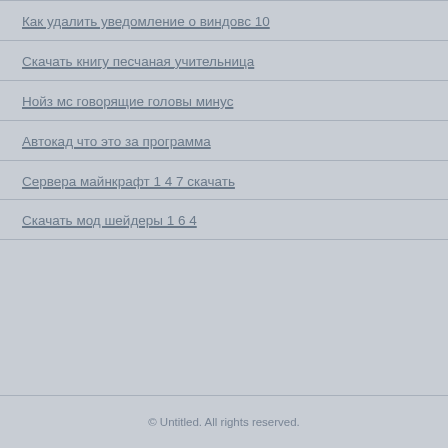Как удалить уведомление о виндовс 10
Скачать книгу песчаная учительница
Нойз мс говорящие головы минус
Автокад что это за программа
Сервера майнкрафт 1 4 7 скачать
Скачать мод шейдеры 1 6 4
© Untitled. All rights reserved.